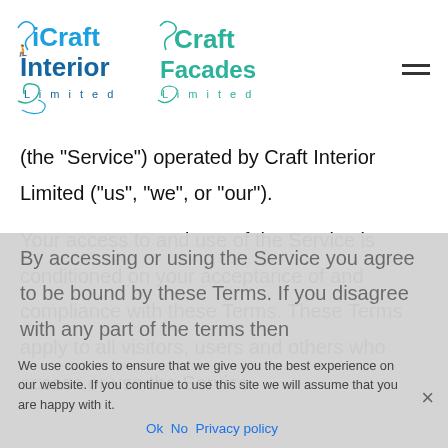[Figure (logo): iCraft Interior Limited logo — stylized blue text with decorative figure]
[Figure (logo): Craft Facades Limited logo — stylized teal/green text with decorative figure]
(the “Service”) operated by Craft Interior Limited (“us”, “we”, or “our”).
Your access to and use of the Service is conditioned on your acceptance of and compliance with these Terms. These Terms apply to all visitors, users and others who access or use the Service.
By accessing or using the Service you agree to be bound by these Terms. If you disagree with any part of the terms then
We use cookies to ensure that we give you the best experience on our website. If you continue to use this site we will assume that you are happy with it.
Ok  No  Privacy policy